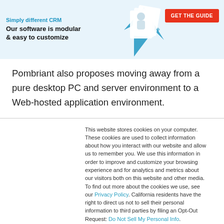[Figure (infographic): Banner advertisement for a CRM software. Shows tagline 'Simply different CRM', headline 'Our software is modular & easy to customize', a decorative image of documents/person, and a red 'GET THE GUIDE' button on a light blue background.]
Pombriant also proposes moving away from a pure desktop PC and server environment to a Web-hosted application environment.
This website stores cookies on your computer. These cookies are used to collect information about how you interact with our website and allow us to remember you. We use this information in order to improve and customize your browsing experience and for analytics and metrics about our visitors both on this website and other media. To find out more about the cookies we use, see our Privacy Policy. California residents have the right to direct us not to sell their personal information to third parties by filing an Opt-Out Request: Do Not Sell My Personal Info.
Accept